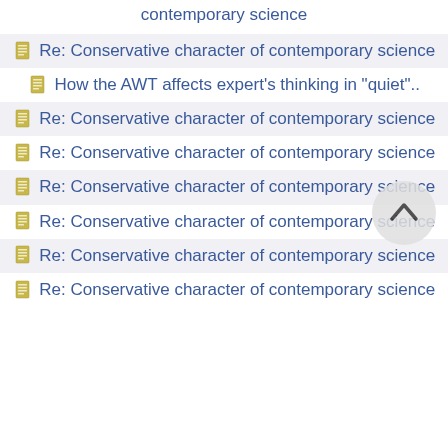contemporary science
Re: Conservative character of contemporary science
How the AWT affects expert's thinking in "quiet"..
Re: Conservative character of contemporary science
Re: Conservative character of contemporary science
Re: Conservative character of contemporary science
Re: Conservative character of contemporary science
Re: Conservative character of contemporary science
Re: Conservative character of contemporary science